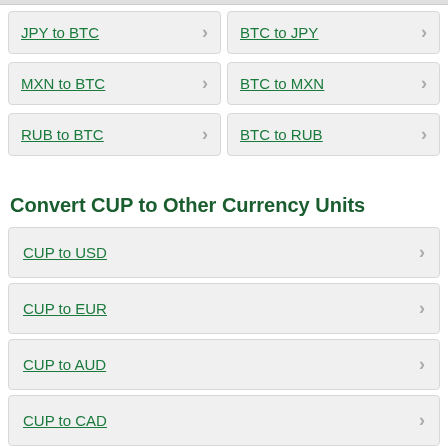JPY to BTC
BTC to JPY
MXN to BTC
BTC to MXN
RUB to BTC
BTC to RUB
Convert CUP to Other Currency Units
CUP to USD
CUP to EUR
CUP to AUD
CUP to CAD
CUP to CHF
CUP to CNY